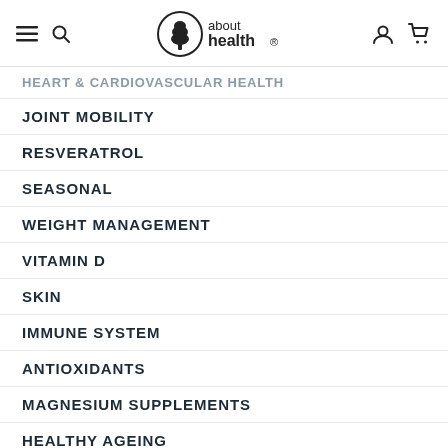about health — navigation menu
HEART & CARDIOVASCULAR HEALTH
JOINT MOBILITY
RESVERATROL
SEASONAL
WEIGHT MANAGEMENT
VITAMIN D
SKIN
IMMUNE SYSTEM
ANTIOXIDANTS
MAGNESIUM SUPPLEMENTS
HEALTHY AGEING
FISH OIL
MULTIVITAMINS